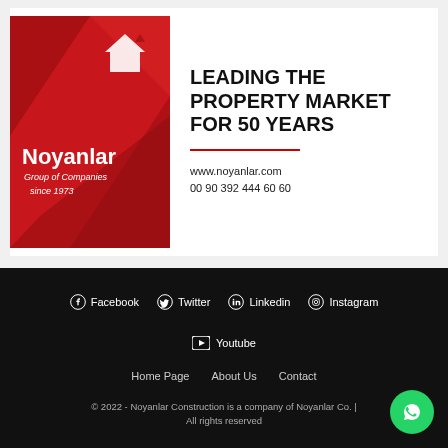[Figure (logo): Noyanlar Group of Companies since 1973 - red geometric logo with white text on red background]
LEADING THE PROPERTY MARKET FOR 50 YEARS
www.noyanlar.com
00 90 392 444 60 60
Facebook  Twitter  Linkedin  Instagram  Youtube  Home Page  About Us  Contact  © 2022 - Noyanlar Construction is a company of Noyanlar Co. | All rights reserved